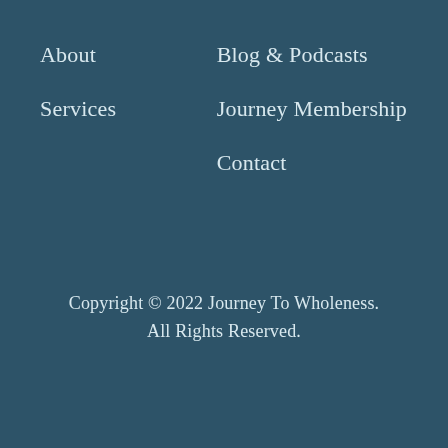About
Services
Blog & Podcasts
Journey Membership
Contact
Copyright © 2022 Journey To Wholeness. All Rights Reserved.